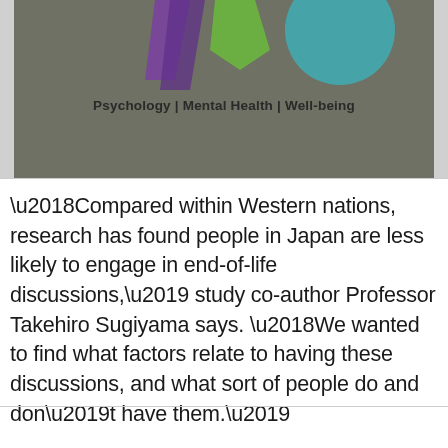[Figure (other): Top portion of a banner image with dark grey/olive background showing partial colourful icons and the text 'Psychology | Mental Health | Well-being' in bold.]
'Compared within Western nations, research has found people in Japan are less likely to engage in end-of-life discussions,' study co-author Professor Takehiro Sugiyama says. 'We wanted to find what factors relate to having these discussions, and what sort of people do and don't have them.'